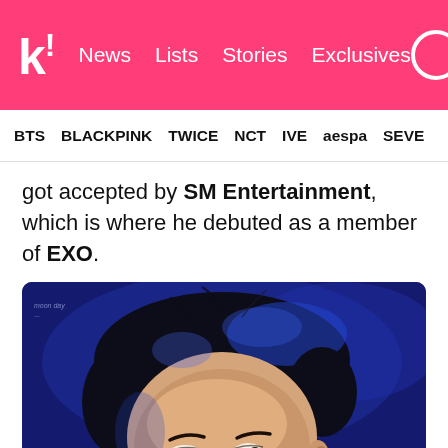k! News  Lists  Stories  Exclusives
BTS  BLACKPINK  TWICE  NCT  IVE  aespa  SEVE
got accepted by SM Entertainment, which is where he debuted as a member of EXO.
[Figure (photo): Close-up portrait of a young Asian male with dark hair against a deep blue background, looking upward with soft lighting illuminating his face.]